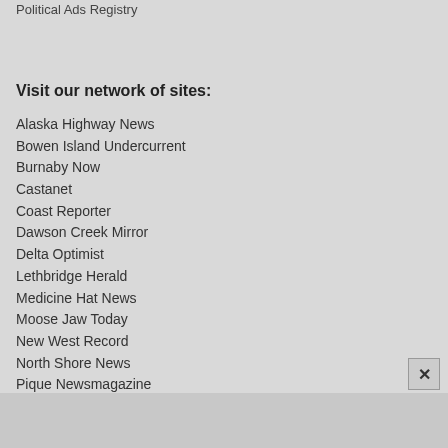Political Ads Registry
Visit our network of sites:
Alaska Highway News
Bowen Island Undercurrent
Burnaby Now
Castanet
Coast Reporter
Dawson Creek Mirror
Delta Optimist
Lethbridge Herald
Medicine Hat News
Moose Jaw Today
New West Record
North Shore News
Pique Newsmagazine
Powell River Peak
Prince George Citizen
PFW.ca